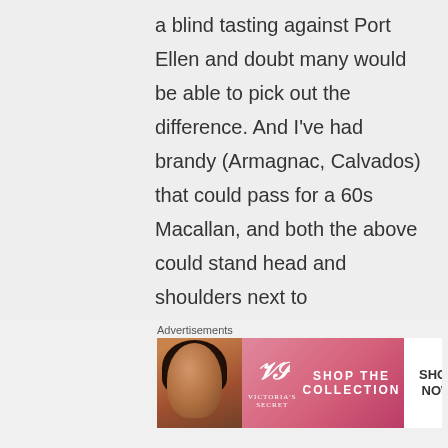a blind tasting against Port Ellen and doubt many would be able to pick out the difference. And I've had brandy (Armagnac, Calvados) that could pass for a 60s Macallan, and both the above could stand head and shoulders next to
[Figure (other): Victoria's Secret advertisement banner showing a model with curly hair on the left, the Victoria's Secret logo in the center-left area, text 'SHOP THE COLLECTION' in the center, and a white 'SHOP NOW' button on the right, on a pink gradient background.]
Advertisements